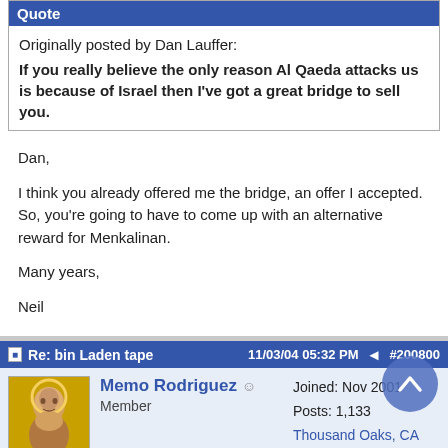Quote (header)
Originally posted by Dan Lauffer:
If you really believe the only reason Al Qaeda attacks us is because of Israel then I've got a great bridge to sell you.
Dan,

I think you already offered me the bridge, an offer I accepted. So, you're going to have to come up with an alternative reward for Menkalinan.

Many years,

Neil
Re: bin Laden tape   11/03/04 05:32 PM  #200800
Memo Rodriguez
Member
Joined: Nov 2001
Posts: 1,133
Thousand Oaks, CA
Hi,